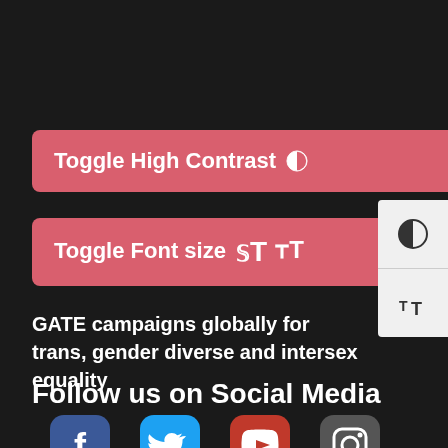[Figure (screenshot): Button labeled 'Toggle High Contrast' with a contrast icon, on a salmon/red-pink background]
[Figure (screenshot): Button labeled 'Toggle Font size' with a font size icon, on a salmon/red-pink background]
GATE campaigns globally for trans, gender diverse and intersex equality
Follow us on Social Media
[Figure (infographic): Row of social media icons: Facebook (blue), Twitter (blue), YouTube (red), Instagram (grey)]
[Figure (other): Accessibility widget panel on right edge showing contrast toggle and font size toggle buttons]